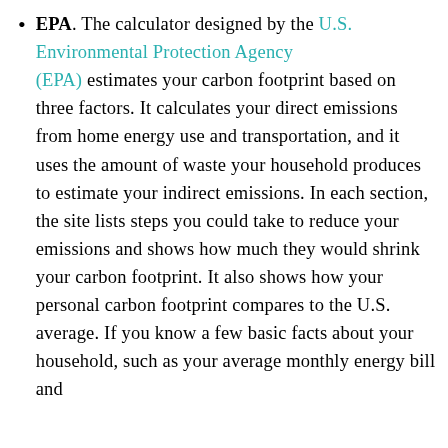EPA. The calculator designed by the U.S. Environmental Protection Agency (EPA) estimates your carbon footprint based on three factors. It calculates your direct emissions from home energy use and transportation, and it uses the amount of waste your household produces to estimate your indirect emissions. In each section, the site lists steps you could take to reduce your emissions and shows how much they would shrink your carbon footprint. It also shows how your personal carbon footprint compares to the U.S. average. If you know a few basic facts about your household, such as your average monthly energy bill and